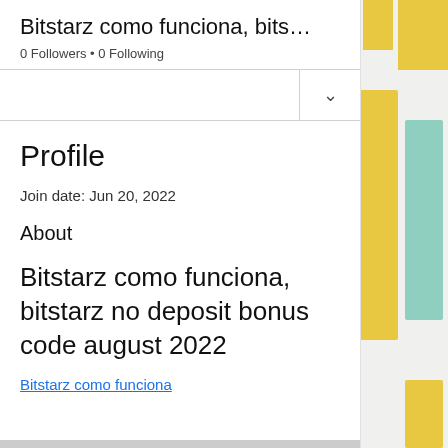Bitstarz como funciona, bits…
0 Followers • 0 Following
Profile
Join date: Jun 20, 2022
About
Bitstarz como funciona, bitstarz no deposit bonus code august 2022
Bitstarz como funciona